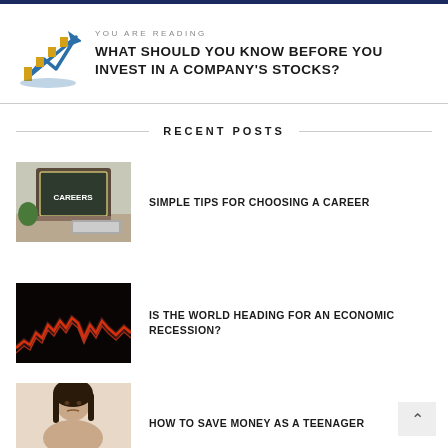YOU ARE READING
WHAT SHOULD YOU KNOW BEFORE YOU INVEST IN A COMPANY'S STOCKS?
RECENT POSTS
[Figure (photo): A chalkboard with the word CAREERS written on it, on a desk with a plant and keyboard]
SIMPLE TIPS FOR CHOOSING A CAREER
[Figure (photo): Red stock market chart with jagged lines on dark background, representing economic volatility]
IS THE WORLD HEADING FOR AN ECONOMIC RECESSION?
[Figure (photo): Portrait of a young person with long dark hair looking serious or concerned]
HOW TO SAVE MONEY AS A TEENAGER